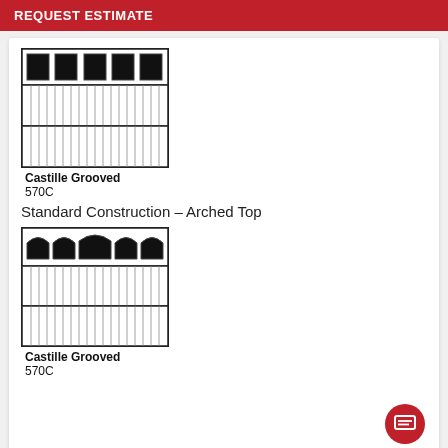REQUEST ESTIMATE
[Figure (illustration): Garage door illustration: Castille Grooved style with rectangular windows across the top panel, vertical grooves on lower panels, flat/standard top]
Castille Grooved
570C
Standard Construction – Arched Top
[Figure (illustration): Garage door illustration: Castille Grooved style with arched windows across the top panel, vertical grooves on lower panels, arched top windows]
Castille Grooved
570C